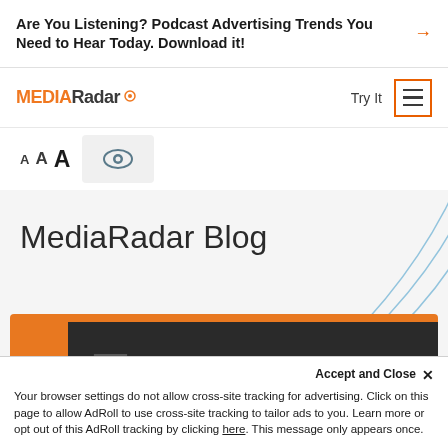Are You Listening? Podcast Advertising Trends You Need to Hear Today. Download it!
[Figure (screenshot): MediaRadar logo with orange MEDIA text and dark Radar text, navigation bar with Try It text and hamburger menu icon in orange border]
[Figure (screenshot): Font size selector showing three A letters in increasing sizes with an eye accessibility icon]
MediaRadar Blog
[Figure (photo): Partially visible blog post thumbnail with orange background and dark inner image showing number 5]
Accept and Close ×
Your browser settings do not allow cross-site tracking for advertising. Click on this page to allow AdRoll to use cross-site tracking to tailor ads to you. Learn more or opt out of this AdRoll tracking by clicking here. This message only appears once.